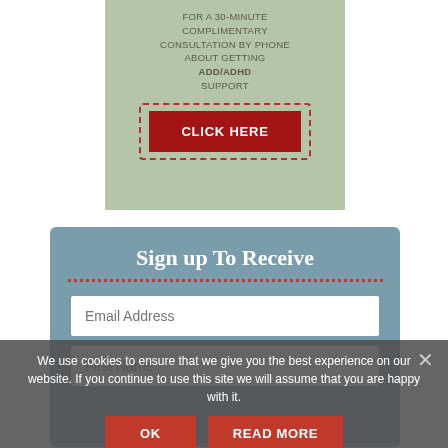FOR A 30-MINUTE COMPLIMENTARY CONSULTATION BY PHONE ABOUT GETTING ADD/ADHD SUPPORT
[Figure (other): Red button with white bold text 'CLICK HERE' inside a dotted red border box, on a sage green background]
Sign up To Receive
Email Address
First Name
We use cookies to ensure that we give you the best experience on our website. If you continue to use this site we will assume that you are happy with it.